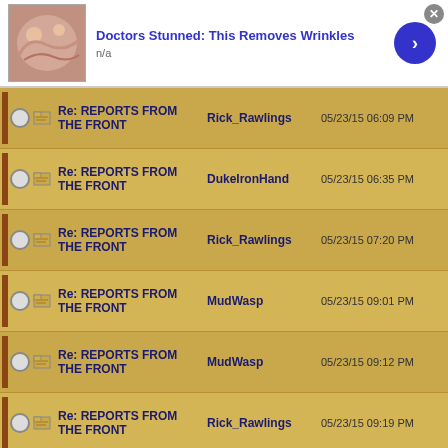[Figure (screenshot): Ad banner: thumbnail image of face/skin, title 'Doctors Stunned: This Removes Wrinkles', 'n/a', blue arrow button, gray X close button]
| Subject | Author | Date |
| --- | --- | --- |
| Re: REPORTS FROM THE FRONT | Rick_Rawlings | 05/23/15 06:09 PM |
| Re: REPORTS FROM THE FRONT | DukeIronHand | 05/23/15 06:35 PM |
| Re: REPORTS FROM THE FRONT | Rick_Rawlings | 05/23/15 07:20 PM |
| Re: REPORTS FROM THE FRONT | MudWasp | 05/23/15 09:01 PM |
| Re: REPORTS FROM THE FRONT | MudWasp | 05/23/15 09:12 PM |
| Re: REPORTS FROM THE FRONT | Rick_Rawlings | 05/23/15 09:19 PM |
| Re: REPORTS FROM | MudWasp |  |
[Figure (screenshot): Ad banner: thumbnail image of person in dark jacket, title 'Casinos Don’t Expect You to Do This; but', 'n/a', blue arrow button, gray X close button]